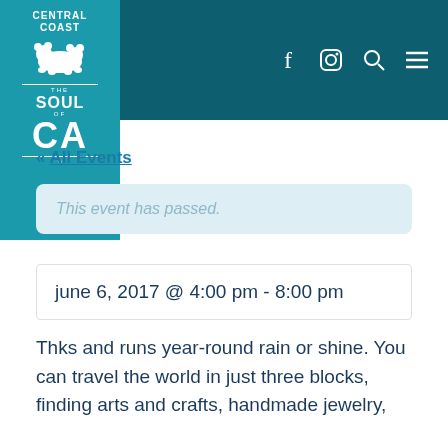[Figure (logo): Central Coast - The Soul of CA logo with teal background, white bear silhouette, and text]
Navigation icons: Facebook, Instagram, Search, Menu
« All Events
This event has passed.
june 6, 2017 @ 4:00 pm - 8:00 pm
Thks and runs year-round rain or shine.  You can travel the world in just three blocks, finding arts and crafts, handmade jewelry,